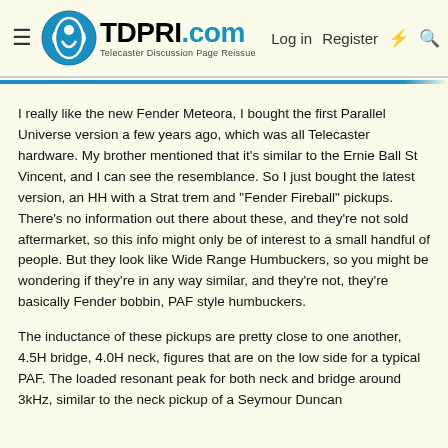TDPRI.com — Telecaster Discussion Page Reissue | Log in | Register
I really like the new Fender Meteora, I bought the first Parallel Universe version a few years ago, which was all Telecaster hardware. My brother mentioned that it's similar to the Ernie Ball St Vincent, and I can see the resemblance. So I just bought the latest version, an HH with a Strat trem and "Fender Fireball" pickups. There's no information out there about these, and they're not sold aftermarket, so this info might only be of interest to a small handful of people. But they look like Wide Range Humbuckers, so you might be wondering if they're in any way similar, and they're not, they're basically Fender bobbin, PAF style humbuckers.
The inductance of these pickups are pretty close to one another, 4.5H bridge, 4.0H neck, figures that are on the low side for a typical PAF. The loaded resonant peak for both neck and bridge around 3kHz, similar to the neck pickup of a Seymour Duncan